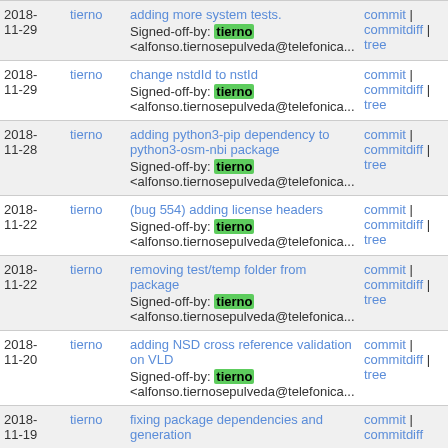| Date | Author | Commit | Links |
| --- | --- | --- | --- |
| 2018-11-29 | tierno | adding more system tests.
Signed-off-by: tierno <alfonso.tiernosepulveda@telefonica... | commit | commitdiff | tree |
| 2018-11-29 | tierno | change nstdId to nstId
Signed-off-by: tierno <alfonso.tiernosepulveda@telefonica... | commit | commitdiff | tree |
| 2018-11-28 | tierno | adding python3-pip dependency to python3-osm-nbi package
Signed-off-by: tierno <alfonso.tiernosepulveda@telefonica... | commit | commitdiff | tree |
| 2018-11-22 | tierno | (bug 554) adding license headers
Signed-off-by: tierno <alfonso.tiernosepulveda@telefonica... | commit | commitdiff | tree |
| 2018-11-22 | tierno | removing test/temp folder from package
Signed-off-by: tierno <alfonso.tiernosepulveda@telefonica... | commit | commitdiff | tree |
| 2018-11-20 | tierno | adding NSD cross reference validation on VLD
Signed-off-by: tierno <alfonso.tiernosepulveda@telefonica... | commit | commitdiff | tree |
| 2018-11-19 | tierno | fixing package dependencies and generation | commit | commitdiff |